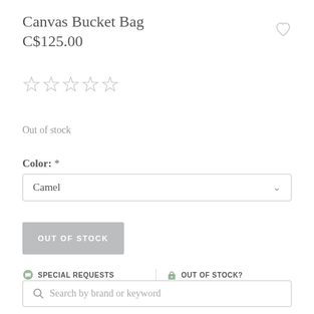Canvas Bucket Bag
C$125.00
[Figure (other): Heart/wishlist icon (outline) in top right]
[Figure (other): Five empty star rating icons]
Out of stock
Color: *
Camel
OUT OF STOCK
SPECIAL REQUESTS
Send us a note during check out, we'll see what we can do.
OUT OF STOCK?
It might already be on its way to us, just email to find out when it
Search by brand or keyword